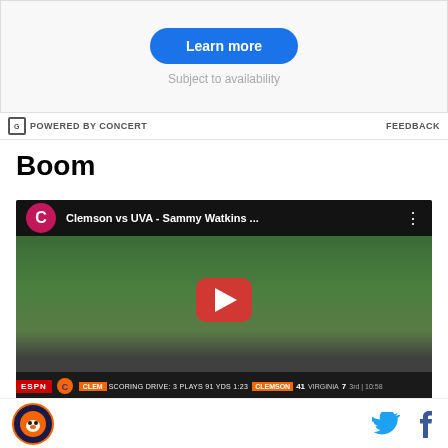[Figure (other): Advertisement banner with Learn more button and Subject to availability text]
POWERED BY CONCERT   FEEDBACK
Boom
[Figure (screenshot): YouTube video thumbnail showing Clemson vs UVA - Sammy Watkins football game with ESPN scoreboard showing CLEMSON 41 VIRGINIA 7 3rd | 10:58, SCORING DRIVE: 3 PLAYS 91 YDS 1:23]
[Figure (logo): Clemson Tigers circular orange logo at bottom left, with Twitter and Facebook social media icons at bottom right]